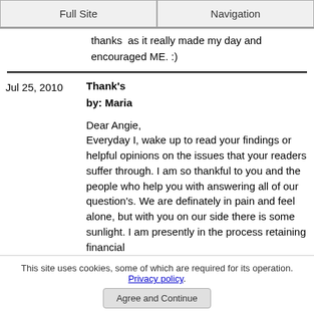Full Site | Navigation
thanks  as it really made my day and encouraged ME. :)
Jul 25, 2010   Thank's
by: Maria

Dear Angie,
Everyday I, wake up to read your findings or helpful opinions on the issues that your readers suffer through. I am so thankful to you and the people who help you with answering all of our question's. We are definately in pain and feel alone, but with you on our side there is some sunlight. I am presently in the process retaining financial
This site uses cookies, some of which are required for its operation. Privacy policy. Agree and Continue